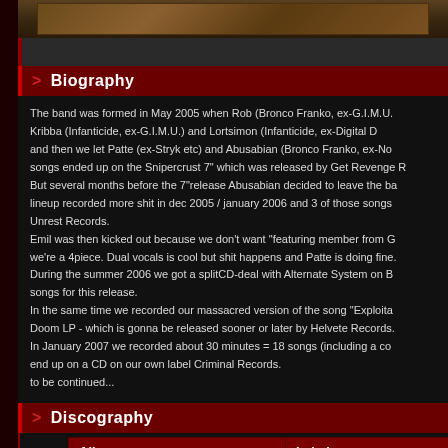[Figure (photo): Band photo with warm brown/wood tones background]
> Biography
The band was formed in May 2005 when Rob (Bronco Franko, ex-G.I.M.U. Kribba (Infanticide, ex-G.I.M.U.) and Lortsimon (Infanticide, ex-Digital D and then we let Patte (ex-Stryk etc) and Abusabian (Bronco Franko, ex-No songs ended up on the Snipercrust 7" which was released by Get Revenge R But several months before the 7"release Abusabian decided to leave the ba lineup recorded more shit in dec 2005 / january 2006 and 3 of those songs Unrest Records.
Emil was then kicked out because we don't want "featuring member from we're a 4piece. Dual vocals is cool but shit happens and Patte is doing fine.
During the summer 2006 we got a splitCD-deal with Alternate System on B songs for this release.
In the same time we recorded our massacred version of the song "Exploita Doom LP - which is gonna be released sooner or later by Helvete Records.
In January 2007 we recorded about 30 minutes = 18 songs (including a co end up on a CD on our own label Criminal Records.
to be continued...
> Discography
| Album | Label |
| --- | --- |
| Snipercrust 7" EP | Get Revenge |